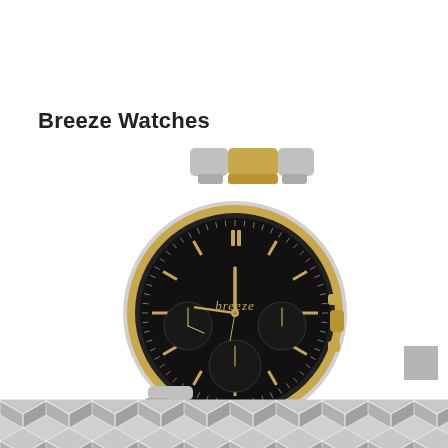Breeze Watches
[Figure (photo): A Breeze brand chronograph watch with a black dial, gold-tone bezel, gold-tone and silver-tone link bracelet, gold-tone hands and indices, and three sub-dials. The watch face displays the 'breeze' brand name in gold lettering.]
[Figure (illustration): A repeating geometric cube/hexagon pattern in shades of gray used as a decorative footer strip across the bottom of the page.]